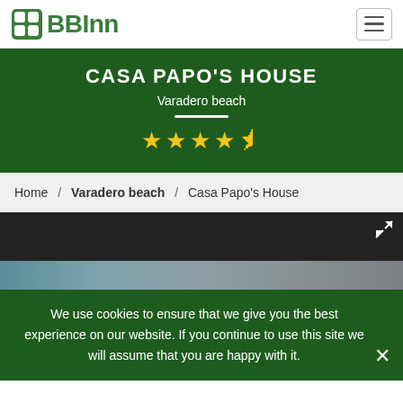BBInn
CASA PAPO'S HOUSE
Varadero beach
★★★★½
Home / Varadero beach / Casa Papo's House
[Figure (photo): Dark image area showing the top of a property photo gallery with an expand/fullscreen icon in the top right corner and a partial view of a building below]
We use cookies to ensure that we give you the best experience on our website. If you continue to use this site we will assume that you are happy with it.